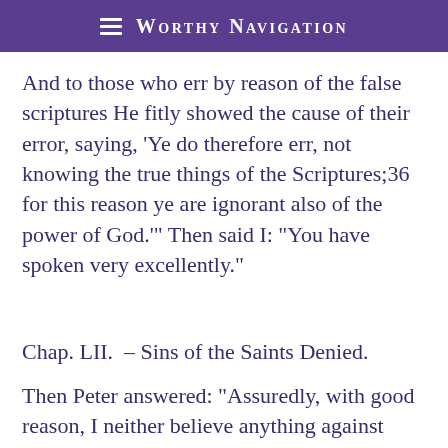≡ Worthy Navigation
And to those who err by reason of the false scriptures He fitly showed the cause of their error, saying, 'Ye do therefore err, not knowing the true things of the Scriptures;36 for this reason ye are ignorant also of the power of God.'" Then said I: "You have spoken very excellently."
Chap. LII. – Sins of the Saints Denied.
Then Peter answered: "Assuredly, with good reason, I neither believe anything against God, nor against the just men recorded in the law, taking for granted that they are impious imaginations. For, as I am persuaded, neither